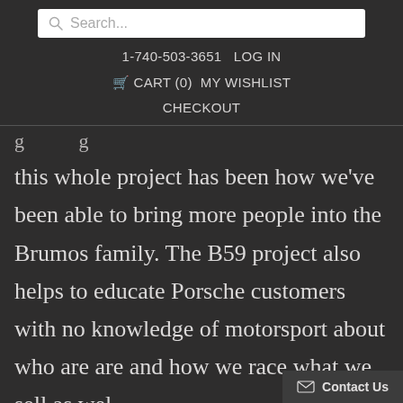Search... | 1-740-503-3651 | LOG IN | CART (0) | MY WISHLIST | CHECKOUT
this whole project has been how we've been able to bring more people into the Brumos family. The B59 project also helps to educate Porsche customers with no knowledge of motorsport about who are are and how we race what we sell as wel...